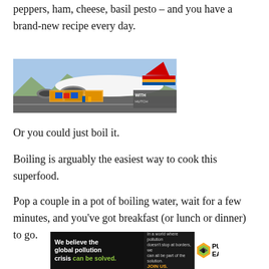peppers, ham, cheese, basil pesto – and you have a brand-new recipe every day.
[Figure (photo): Photograph of cargo being loaded onto a Southwest Airlines aircraft on a tarmac, with mountains visible in the background and a partially visible overlay banner.]
Or you could just boil it.
Boiling is arguably the easiest way to cook this superfood.
Pop a couple in a pot of boiling water, wait for a few minutes, and you've got breakfast (or lunch or dinner) to go.
[Figure (infographic): Advertisement banner for Pure Earth: left dark panel reads 'We believe the global pollution crisis can be solved.' Middle panel reads 'In a world where pollution doesn't stop at borders, we can all be part of the solution. JOIN US.' Right white panel shows Pure Earth logo with diamond icon and text 'PURE EARTH'.]